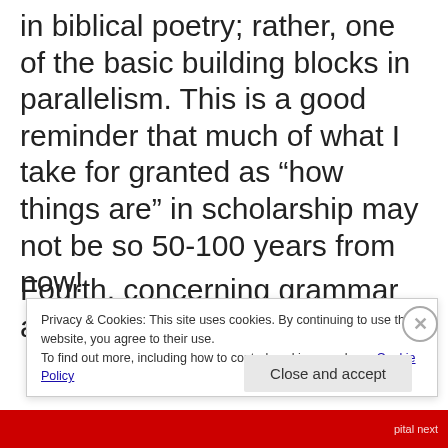in biblical poetry; rather, one of the basic building blocks in parallelism. This is a good reminder that much of what I take for granted as “how things are” in scholarship may not be so 50-100 years from now!
Fourth, concerning grammar and
Privacy & Cookies: This site uses cookies. By continuing to use this website, you agree to their use.
To find out more, including how to control cookies, see here: Cookie Policy
Close and accept